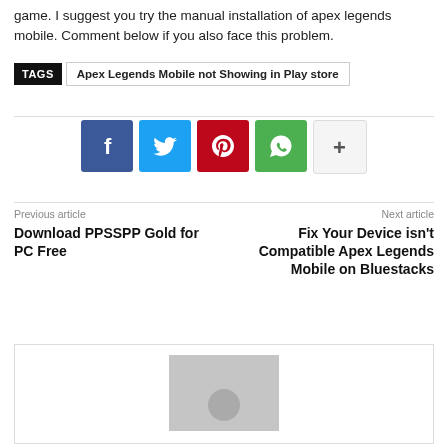game. I suggest you try the manual installation of apex legends mobile. Comment below if you also face this problem.
TAGS   Apex Legends Mobile not Showing in Play store
[Figure (infographic): Social share buttons: Facebook (blue), Twitter (light blue), Pinterest (red), WhatsApp (green), More/Plus (light gray with plus sign)]
Previous article
Download PPSSPP Gold for PC Free
Next article
Fix Your Device isn't Compatible Apex Legends Mobile on Bluestacks
[Figure (photo): Author avatar placeholder - gray rectangle with circular head silhouette]